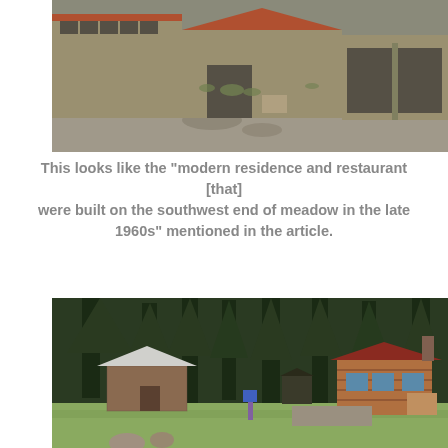[Figure (photo): Outdoor photo of large shed/barn-like structures with wooden walls, open garage doors, overgrown weeds in a gravel/concrete lot, muted tones of tan, grey, and green.]
This looks like the “modern residence and restaurant [that] were built on the southwest end of meadow in the late 1960s” mentioned in the article.
[Figure (photo): Outdoor photo of a meadow with tall pine/fir trees in background, a stone/log cabin with white roof on the left, a wooden log cabin with red roof on the right, green grass in foreground, blue sky partially visible.]